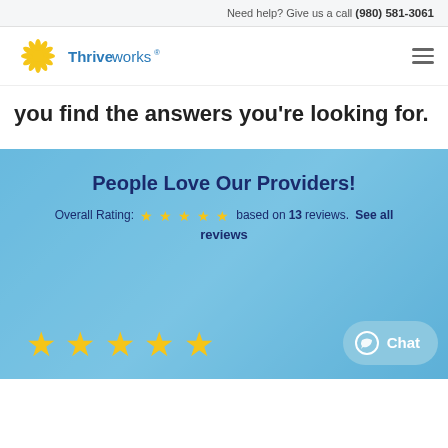Need help? Give us a call (980) 581-3061
[Figure (logo): Thriveworks logo with yellow sunburst and blue text]
you find the answers you're looking for.
People Love Our Providers! Overall Rating: ★★★★★ based on 13 reviews. See all reviews
[Figure (infographic): Five large yellow stars rating display at bottom of blue section]
Chat